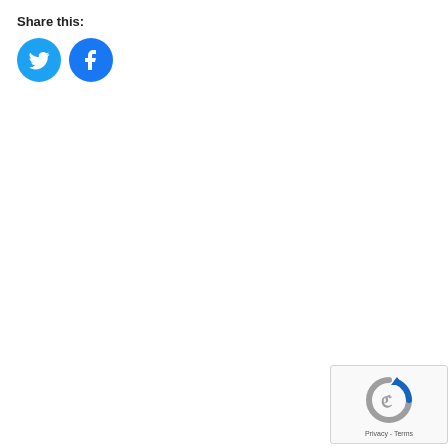Share this:
[Figure (illustration): Two circular social media share buttons: Twitter (blue bird icon) and Facebook (blue f icon)]
[Figure (logo): Google reCAPTCHA widget in the bottom right corner showing the reCAPTCHA logo with Privacy and Terms links]